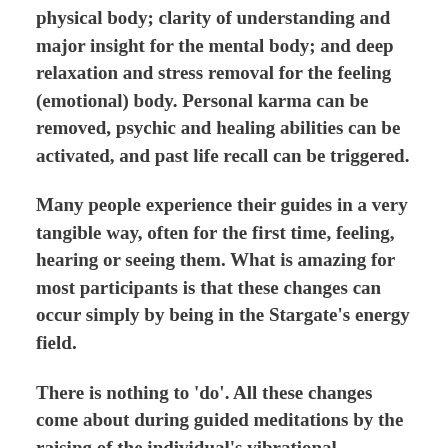physical body; clarity of understanding and major insight for the mental body; and deep relaxation and stress removal for the feeling (emotional) body. Personal karma can be removed, psychic and healing abilities can be activated, and past life recall can be triggered.
Many people experience their guides in a very tangible way, often for the first time, feeling, hearing or seeing them. What is amazing for most participants is that these changes can occur simply by being in the Stargate's energy field.
There is nothing to 'do'. All these changes come about during guided meditations by the raising of the individual's vibrational frequency. Dormant parts of the multi-